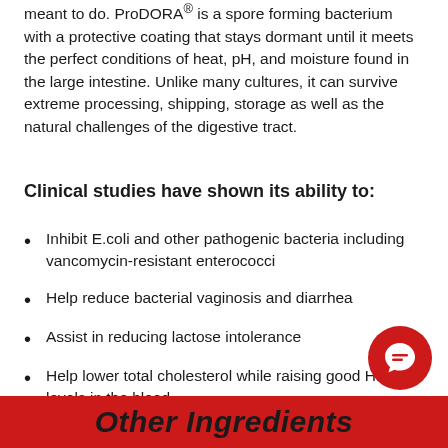meant to do. ProDORA® is a spore forming bacterium with a protective coating that stays dormant until it meets the perfect conditions of heat, pH, and moisture found in the large intestine. Unlike many cultures, it can survive extreme processing, shipping, storage as well as the natural challenges of the digestive tract.
Clinical studies have shown its ability to:
Inhibit E.coli and other pathogenic bacteria including vancomycin-resistant enterococci
Help reduce bacterial vaginosis and diarrhea
Assist in reducing lactose intolerance
Help lower total cholesterol while raising good HDL levels in the blood
[Figure (other): Red circular chat/support button icon with speech bubble]
Other Ingredients